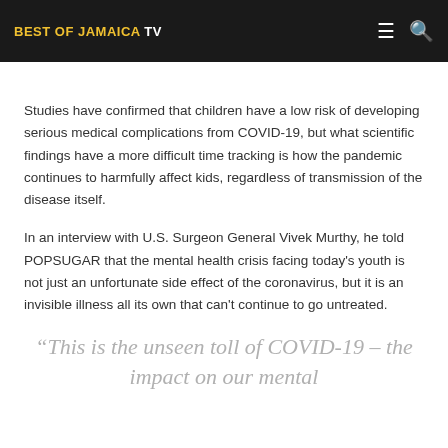BEST OF JAMAICA TV
Studies have confirmed that children have a low risk of developing serious medical complications from COVID-19, but what scientific findings have a more difficult time tracking is how the pandemic continues to harmfully affect kids, regardless of transmission of the disease itself.
In an interview with U.S. Surgeon General Vivek Murthy, he told POPSUGAR that the mental health crisis facing today's youth is not just an unfortunate side effect of the coronavirus, but it is an invisible illness all its own that can't continue to go untreated.
“This is the unseen toll of COVID-19 – the impact on our mental